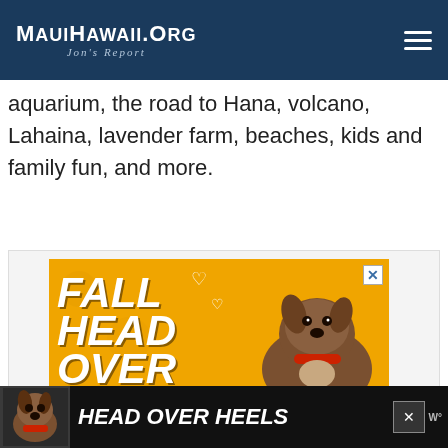MauiHawaii.org — Jon's Report
aquarium, the road to Hana, volcano, Lahaina, lavender farm, beaches, kids and family fun, and more.
[Figure (photo): Advertisement banner with yellow/orange background showing a dog and text 'FALL HEAD OVER HEELS' in large bold italic white letters with brown shadow, decorative hearts, and a close button.]
[Figure (photo): Bottom sticky banner ad with black background showing a dog image on left, text 'HEAD OVER HEELS' in large white italic letters, and a close (X) button on right.]